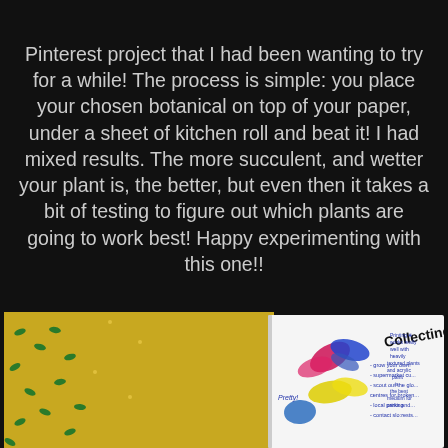Pinterest project that I had been wanting to try for a while! The process is simple: you place your chosen botanical on top of your paper, under a sheet of kitchen roll and beat it! I had mixed results. The more succulent, and wetter your plant is, the better, but even then it takes a bit of testing to figure out which plants are going to work best! Happy experimenting with this one!!
[Figure (photo): A photograph of a handwritten journal/notebook page showing colorful botanical prints (leaves printed in pink, blue, and yellow) alongside handwritten notes including 'Printing works really well with heavily textured plants and acrylic paint is the best medium for printing' and a section titled 'Collecting' with bullet points like 'grow your own', 'supermarket cu...', 'scout out the glo...', 'centres for broken...', 'local parks and...', 'contact slo:rests...'. Also visible is a yellow patterned background on the left side. The word 'Pretty!' is written in the margin.]